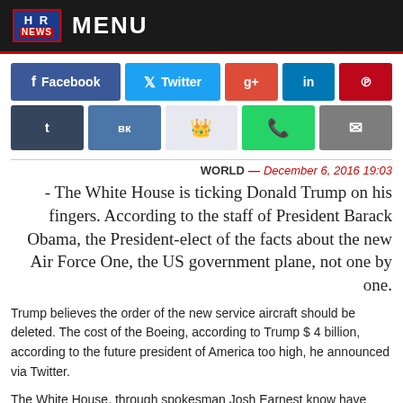HR NEWS  MENU
[Figure (other): Social media sharing buttons: Facebook, Twitter, Google+, LinkedIn, Pinterest (row 1); Tumblr, VK, Reddit, WhatsApp, Email (row 2)]
WORLD — December 6, 2016 19:03
- The White House is ticking Donald Trump on his fingers. According to the staff of President Barack Obama, the President-elect of the facts about the new Air Force One, the US government plane, not one by one.
Trump believes the order of the new service aircraft should be deleted. The cost of the Boeing, according to Trump $ 4 billion, according to the future president of America too high, he announced via Twitter.
The White House, through spokesman Josh Earnest know have